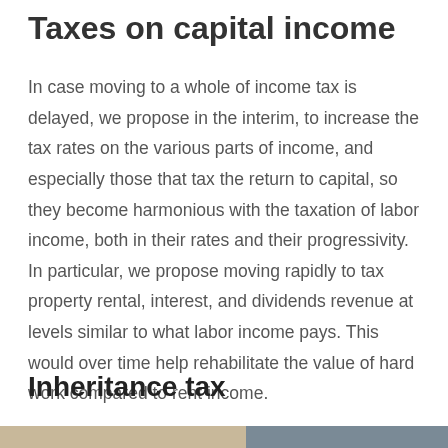Taxes on capital income
In case moving to a whole of income tax is delayed, we propose in the interim, to increase the tax rates on the various parts of income, and especially those that tax the return to capital, so they become harmonious with the taxation of labor income, both in their rates and their progressivity. In particular, we propose moving rapidly to tax property rental, interest, and dividends revenue at levels similar to what labor income pays. This would over time help rehabilitate the value of hard work compared to rent income.
Inheritance tax